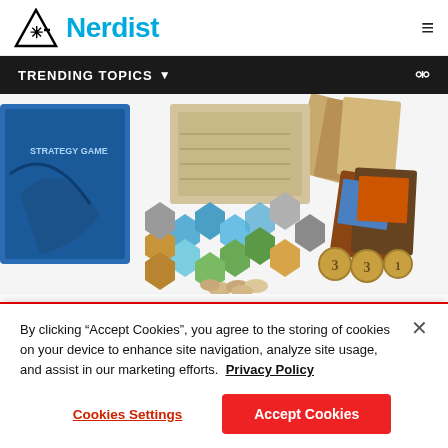Nerdist
TRENDING TOPICS
[Figure (photo): Board game components spread out: a blue strategy game box, hexagonal terrain tiles in blue/green/brown/grey, cards with fantasy artwork, wooden tokens, and numbered coins (showing 3, 3, 1) on a white background]
Greater Than Games
By clicking “Accept Cookies”, you agree to the storing of cookies on your device to enhance site navigation, analyze site usage, and assist in our marketing efforts.  Privacy Policy
Cookies Settings
Accept Cookies